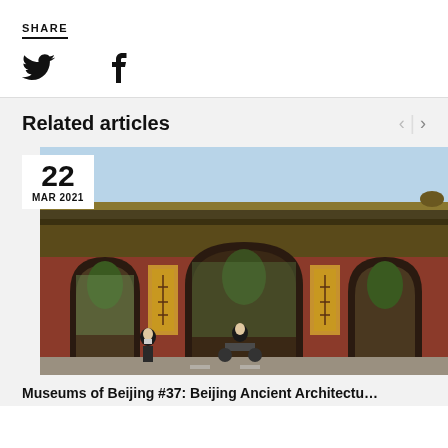SHARE
[Figure (other): Twitter and Facebook share icons]
Related articles
22 MAR 2021
[Figure (photo): Photo of Beijing Ancient Architecture Museum gate — a traditional Chinese red brick gate with three arched openings, decorative tiled roof with ridge ornaments, and Chinese characters on plaques. People on bicycles and motorbikes pass through the gate.]
Museums of Beijing #37: Beijing Ancient Architectu…